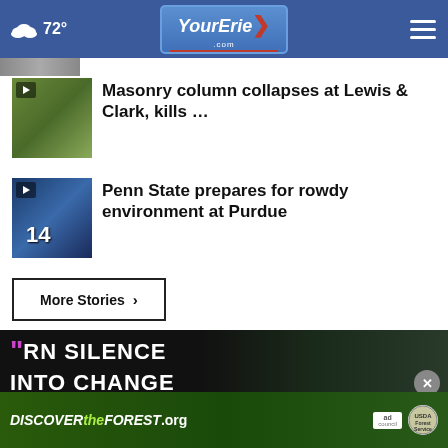72° YourErie.com
[Figure (screenshot): Partial thumbnail image strip at top]
[Figure (photo): Video thumbnail for masonry column collapse story with play button]
Masonry column collapses at Lewis & Clark, kills …
[Figure (photo): Video thumbnail of Penn State player #14 with play button]
Penn State prepares for rowdy environment at Purdue
More Stories ›
[Figure (screenshot): Advertisement: TURN SILENCE INTO CHANGE with purple quotation marks, dark background with close button]
[Figure (screenshot): Advertisement banner: DISCOVERtheFOREST.org with Ad Council and USFS logos]